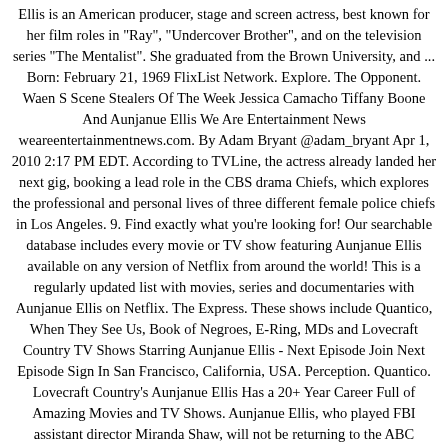Ellis is an American producer, stage and screen actress, best known for her film roles in "Ray", "Undercover Brother", and on the television series "The Mentalist". She graduated from the Brown University, and ... Born: February 21, 1969 FlixList Network. Explore. The Opponent. Waen S Scene Stealers Of The Week Jessica Camacho Tiffany Boone And Aunjanue Ellis We Are Entertainment News weareentertainmentnews.com. By Adam Bryant @adam_bryant Apr 1, 2010 2:17 PM EDT. According to TVLine, the actress already landed her next gig, booking a lead role in the CBS drama Chiefs, which explores the professional and personal lives of three different female police chiefs in Los Angeles. 9. Find exactly what you're looking for! Our searchable database includes every movie or TV show featuring Aunjanue Ellis available on any version of Netflix from around the world! This is a regularly updated list with movies, series and documentaries with Aunjanue Ellis on Netflix. The Express. These shows include Quantico, When They See Us, Book of Negroes, E-Ring, MDs and Lovecraft Country TV Shows Starring Aunjanue Ellis - Next Episode Join Next Episode Sign In San Francisco, California, USA. Perception. Quantico. Lovecraft Country's Aunjanue Ellis Has a 20+ Year Career Full of Amazing Movies and TV Shows. Aunjanue Ellis, who played FBI assistant director Miranda Shaw, will not be returning to the ABC drama's upcoming season.. She began her acting career in theater, and made her film debut in Girls Town. Aunjanue Ellis was born in San Francisco,